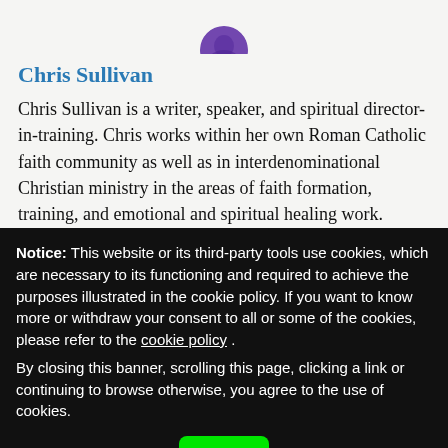[Figure (photo): Circular avatar photo of Chris Sullivan with purple/blue tones, partially cropped at top]
Chris Sullivan
Chris Sullivan is a writer, speaker, and spiritual director-in-training. Chris works within her own Roman Catholic faith community as well as in interdenominational Christian ministry in the areas of faith formation, training, and emotional and spiritual healing work.
Notice: This website or its third-party tools use cookies, which are necessary to its functioning and required to achieve the purposes illustrated in the cookie policy. If you want to know more or withdraw your consent to all or some of the cookies, please refer to the cookie policy . By closing this banner, scrolling this page, clicking a link or continuing to browse otherwise, you agree to the use of cookies.